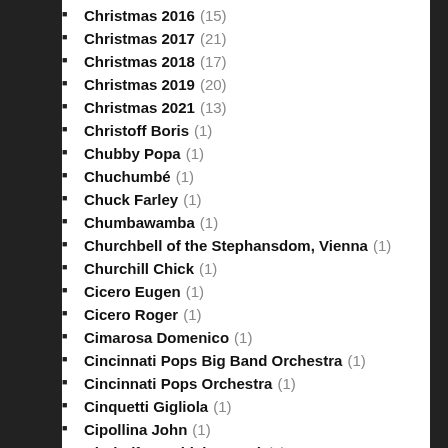Christmas 2016 (15)
Christmas 2017 (21)
Christmas 2018 (17)
Christmas 2019 (20)
Christmas 2021 (13)
Christoff Boris (1)
Chubby Popa (1)
Chuchumbé (1)
Chuck Farley (1)
Chumbawamba (1)
Churchbell of the Stephansdom, Vienna (1)
Churchill Chick (1)
Cicero Eugen (1)
Cicero Roger (1)
Cimarosa Domenico (1)
Cincinnati Pops Big Band Orchestra (1)
Cincinnati Pops Orchestra (1)
Cinquetti Gigliola (1)
Cipollina John (1)
Circle (feat. Chick Corea) (1)
Cis Collegium Mozarteum Salzburg (1)
City Of Coventry Band (1)